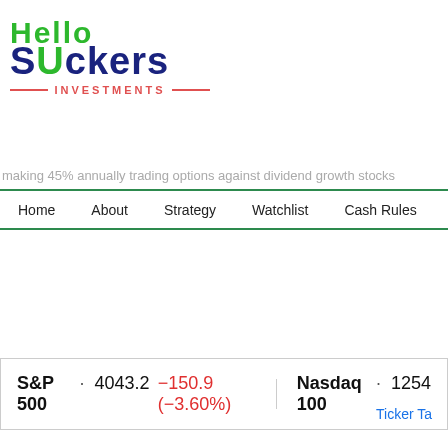[Figure (logo): Hello Suckers Investments logo with green 'Hello' text, dark blue 'SUckers' text, and red 'INVESTMENTS' text with decorative lines]
making 45% annually trading options against dividend growth stocks
Home  About  Strategy  Watchlist  Cash Rules  Trades & Income
S&P 500 · 4043.2  −150.9 (−3.60%)   Nasdaq 100 · 1254
Ticker Ta